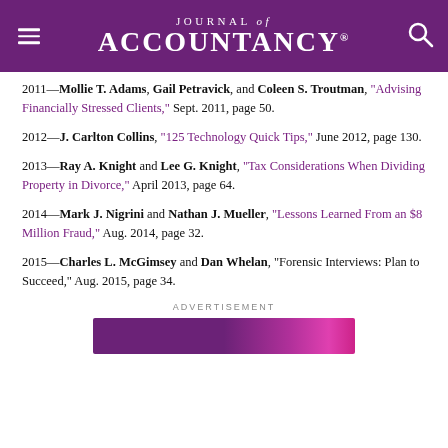Journal of Accountancy
2011—Mollie T. Adams, Gail Petravick, and Coleen S. Troutman, “Advising Financially Stressed Clients,” Sept. 2011, page 50.
2012—J. Carlton Collins, “125 Technology Quick Tips,” June 2012, page 130.
2013—Ray A. Knight and Lee G. Knight, “Tax Considerations When Dividing Property in Divorce,” April 2013, page 64.
2014—Mark J. Nigrini and Nathan J. Mueller, “Lessons Learned From an $8 Million Fraud,” Aug. 2014, page 32.
2015—Charles L. McGimsey and Dan Whelan, “Forensic Interviews: Plan to Succeed,” Aug. 2015, page 34.
ADVERTISEMENT